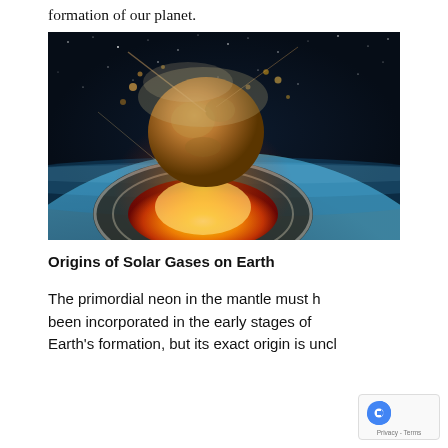formation of our planet.
[Figure (illustration): Artist illustration of a large asteroid or meteor impacting Earth, showing a massive fireball explosion with orange and yellow flames, debris ejected outward, against a background of space and the curved surface of Earth with atmosphere visible at the horizon.]
Origins of Solar Gases on Earth
The primordial neon in the mantle must h been incorporated in the early stages of Earth's formation, but its exact origin is uncl...